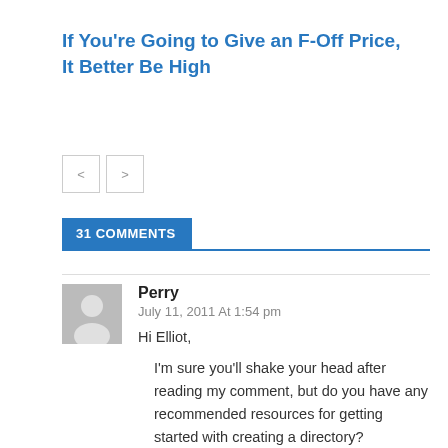If You're Going to Give an F-Off Price, It Better Be High
[Figure (other): Navigation previous/next buttons (< and >)]
31 COMMENTS
Perry
July 11, 2011 At 1:54 pm
Hi Elliot,

I'm sure you'll shake your head after reading my comment, but do you have any recommended resources for getting started with creating a directory?